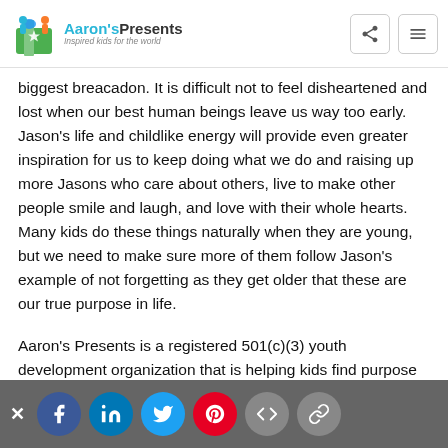Aaron's Presents — Inspired kids for the world
biggest breacadon. It is difficult not to feel disheartened and lost when our best human beings leave us way too early. Jason's life and childlike energy will provide even greater inspiration for us to keep doing what we do and raising up more Jasons who care about others, live to make other people smile and laugh, and love with their whole hearts. Many kids do these things naturally when they are young, but we need to make sure more of them follow Jason's example of not forgetting as they get older that these are our true purpose in life.
Aaron's Presents is a registered 501(c)(3) youth development organization that is helping kids find purpose and meaning by having an early encounter with using their unique gifts to impact others' lives. Kids in 8th grade and below can propose and carry out any kind of giving goal that has a positive impact on at least one other person, animal or the environment. It's up to them